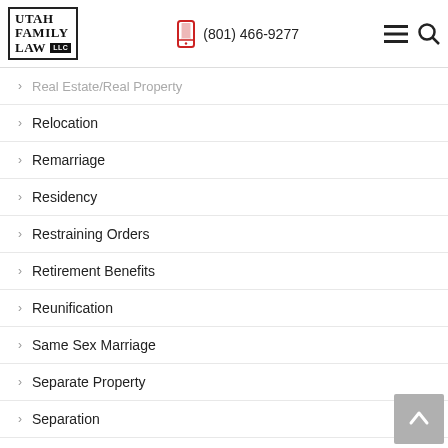Utah Family Law LLC | (801) 466-9277
Real Estate/Real Property
Relocation
Remarriage
Residency
Restraining Orders
Retirement Benefits
Reunification
Same Sex Marriage
Separate Property
Separation
Separation Agreements
Service of Process
Settlement
Sexual Abuse
Sole Custody
Special Circumstances